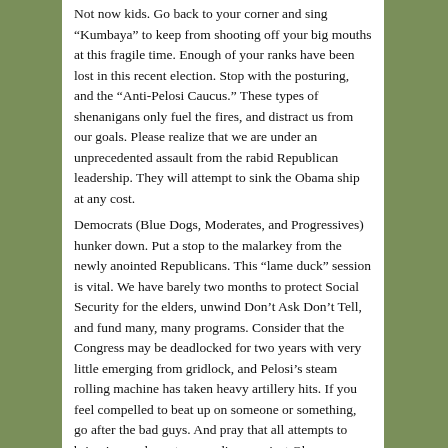Not now kids. Go back to your corner and sing “Kumbaya” to keep from shooting off your big mouths at this fragile time. Enough of your ranks have been lost in this recent election. Stop with the posturing, and the “Anti-Pelosi Caucus.” These types of shenanigans only fuel the fires, and distract us from our goals. Please realize that we are under an unprecedented assault from the rabid Republican leadership. They will attempt to sink the Obama ship at any cost. Democrats (Blue Dogs, Moderates, and Progressives) hunker down. Put a stop to the malarkey from the newly anointed Republicans. This “lame duck” session is vital. We have barely two months to protect Social Security for the elders, unwind Don’t Ask Don’t Tell, and fund many, many programs. Consider that the Congress may be deadlocked for two years with very little emerging from gridlock, and Pelosi’s steam rolling machine has taken heavy artillery hits. If you feel compelled to beat up on someone or something, go after the bad guys. And pray that all attempts to bring impeachment proceedings against Obama are quashed. This would be a travesty filled with hot embers from a rabid right fringe, and to